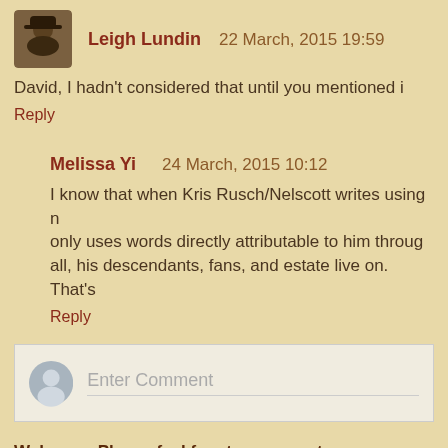Leigh Lundin   22 March, 2015 19:59
David, I hadn't considered that until you mentioned i
Reply
Melissa Yi   24 March, 2015 10:12
I know that when Kris Rusch/Nelscott writes using n only uses words directly attributable to him throug all, his descendants, fans, and estate live on. That's
Reply
Enter Comment
Welcome. Please feel free to comment.